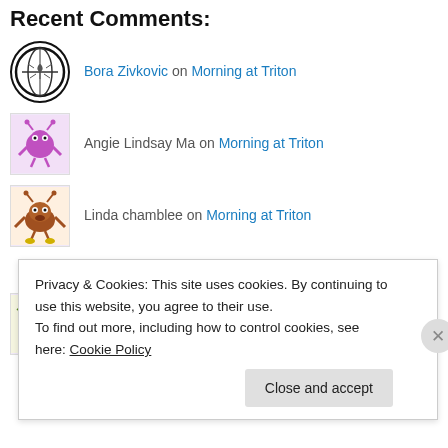Recent Comments:
Bora Zivkovic on Morning at Triton
Angie Lindsay Ma on Morning at Triton
Linda chamblee on Morning at Triton
Jekyll » Blog… on The Big Announcement, this tim…
Mike H on The Big Announcement, this tim…
Privacy & Cookies: This site uses cookies. By continuing to use this website, you agree to their use.
To find out more, including how to control cookies, see here: Cookie Policy